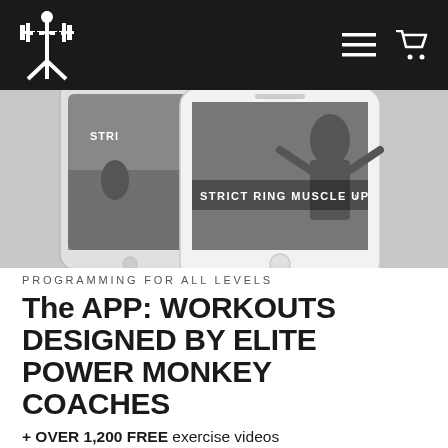Power Monkey Fitness — Navigation header with logo, menu icon, and cart icon
[Figure (screenshot): Two overlapping smartphones displaying the Power Monkey Fitness app with a workout screen reading 'STRICT RING MUSCLE UP']
PROGRAMMING FOR ALL LEVELS
The APP: WORKOUTS DESIGNED BY ELITE POWER MONKEY COACHES
+ OVER 1,200 FREE exercise videos
+ STRENGTH AND MOBILITY ASSESSMENTS to place